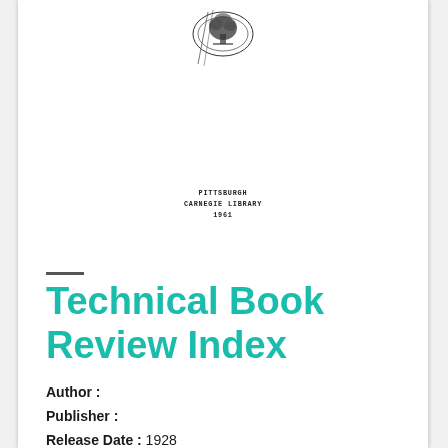[Figure (logo): Decorative emblem or seal at top of page, resembling a library or institutional stamp with ornate design]
[Figure (other): Stamped text reading: PITTSBURGH CARNEGIE LIBRARY 1961]
Technical Book Review Index
Author :
Publisher :
Release Date : 1928